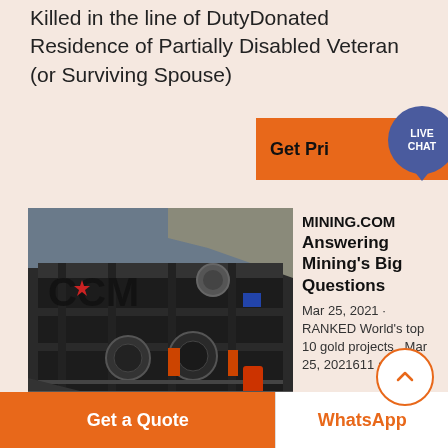Killed in the line of DutyDonated Residence of Partially Disabled Veteran (or Surviving Spouse)
[Figure (screenshot): Orange 'Get Price' button with LIVE CHAT badge overlay]
[Figure (photo): Industrial mining facility with CCM signage on dark metal structure]
MINING.COM
Answering Mining's Big Questions
Mar 25, 2021 · RANKED World's top 10 gold projects . Mar 25, 2021611 am .
Tungsten producers may have to look at new marketsreport .
Get a Quote
WhatsApp